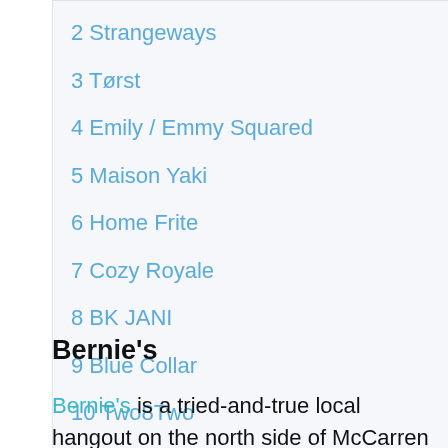2 Strangeways
3 Tørst
4 Emily / Emmy Squared
5 Maison Yaki
6 Home Frite
7 Cozy Royale
8 BK JANI
9 Blue Collar
10 Two8Two
Bernie's
Bernie's is a tried-and-true local hangout on the north side of McCarren Park in Williamsburg. It's the kind of place where bartenders can become